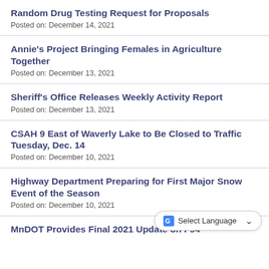Random Drug Testing Request for Proposals
Posted on: December 14, 2021
Annie's Project Bringing Females in Agriculture Together
Posted on: December 13, 2021
Sheriff's Office Releases Weekly Activity Report
Posted on: December 13, 2021
CSAH 9 East of Waverly Lake to Be Closed to Traffic Tuesday, Dec. 14
Posted on: December 10, 2021
Highway Department Preparing for First Major Snow Event of the Season
Posted on: December 10, 2021
MnDOT Provides Final 2021 Update on I-94